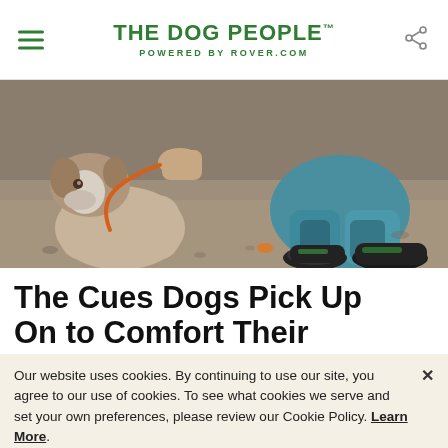THE DOG PEOPLE™ POWERED BY ROVER.COM
[Figure (photo): A person sitting on a gravel surface next to a dog on an orange leash. The person is wearing teal/blue athletic clothing and black sneakers with green accents.]
The Cues Dogs Pick Up On to Comfort Their
Our website uses cookies. By continuing to use our site, you agree to our use of cookies. To see what cookies we serve and set your own preferences, please review our Cookie Policy. Learn More.